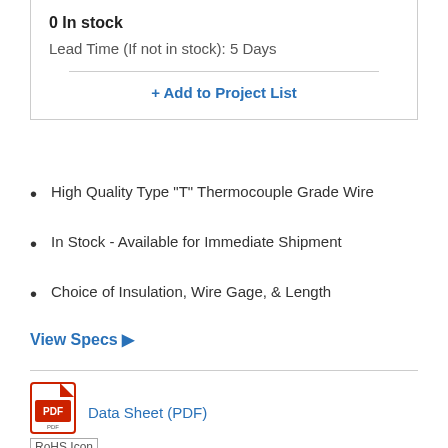0 In stock
Lead Time (If not in stock): 5 Days
+ Add to Project List
High Quality Type "T" Thermocouple Grade Wire
In Stock - Available for Immediate Shipment
Choice of Insulation, Wire Gage, & Length
View Specs ▶
[Figure (other): PDF icon with red border and Adobe-style document logo]
Data Sheet (PDF)
[Figure (other): RoHS Icon compliance badge]
TT-T-24S-SLE-25 Model Options